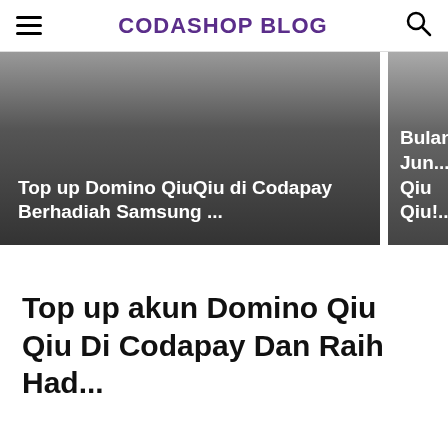CODASHOP BLOG
[Figure (screenshot): Banner image left: Top up Domino QiuQiu di Codapay Berhadiah Samsung ...]
[Figure (screenshot): Banner image right: Bulan Jun... Qiu Qiu!...]
Top up akun Domino Qiu Qiu Di Codapay Dan Raih Had...